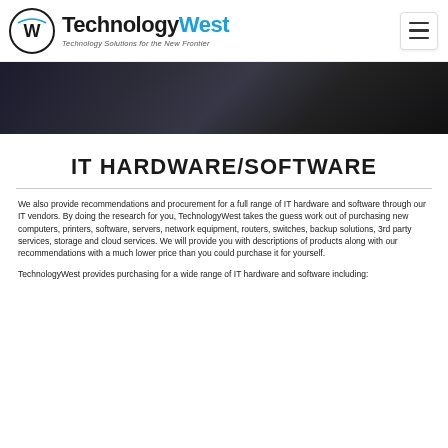TechnologyWest — Technology Solutions for the New Frontier
[Figure (photo): Dark background hero image, appears to show dark technological or mechanical equipment]
IT HARDWARE/SOFTWARE
We also provide recommendations and procurement for a full range of IT hardware and software through our IT vendors. By doing the research for you, TechnologyWest takes the guess work out of purchasing new computers, printers, software, servers, network equipment, routers, switches, backup solutions, 3rd party services, storage and cloud services. We will provide you with descriptions of products along with our recommendations with a much lower price than you could purchase it for yourself.
TechnologyWest provides purchasing for a wide range of IT hardware and software including: